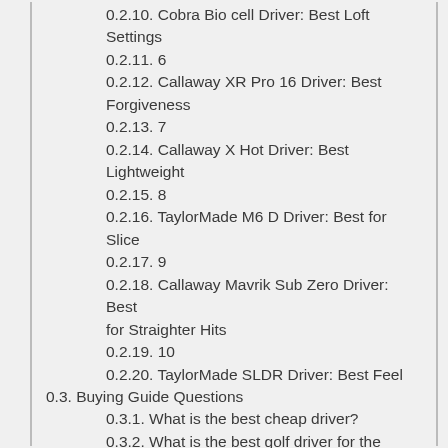0.2.10. Cobra Bio cell Driver: Best Loft Settings
0.2.11. 6
0.2.12. Callaway XR Pro 16 Driver: Best Forgiveness
0.2.13. 7
0.2.14. Callaway X Hot Driver: Best Lightweight
0.2.15. 8
0.2.16. TaylorMade M6 D Driver: Best for Slice
0.2.17. 9
0.2.18. Callaway Mavrik Sub Zero Driver: Best for Straighter Hits
0.2.19. 10
0.2.20. TaylorMade SLDR Driver: Best Feel
0.3. Buying Guide Questions
0.3.1. What is the best cheap driver?
0.3.2. What is the best golf driver for the money?